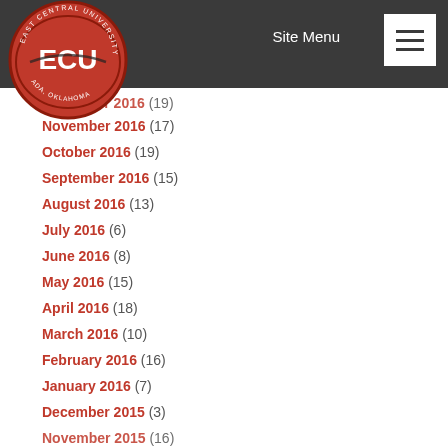ECU - East Central University | Site Menu
December 2016 (19)
November 2016 (17)
October 2016 (19)
September 2016 (15)
August 2016 (13)
July 2016 (6)
June 2016 (8)
May 2016 (15)
April 2016 (18)
March 2016 (10)
February 2016 (16)
January 2016 (7)
December 2015 (3)
November 2015 (16)